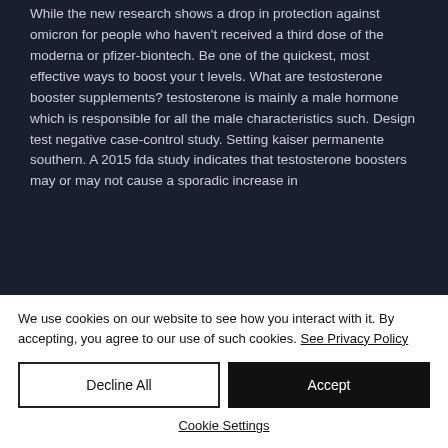While the new research shows a drop in protection against omicron for people who haven't received a third dose of the moderna or pfizer-biontech. Be one of the quickest, most effective ways to boost your t levels. What are testosterone booster supplements? testosterone is mainly a male hormone which is responsible for all the male characteristics such. Design test negative case-control study. Setting kaiser permanente southern. A 2015 fda study indicates that testosterone boosters may or may not cause a sporadic increase in
We use cookies on our website to see how you interact with it. By accepting, you agree to our use of such cookies. See Privacy Policy
Decline All
Accept
Cookie Settings